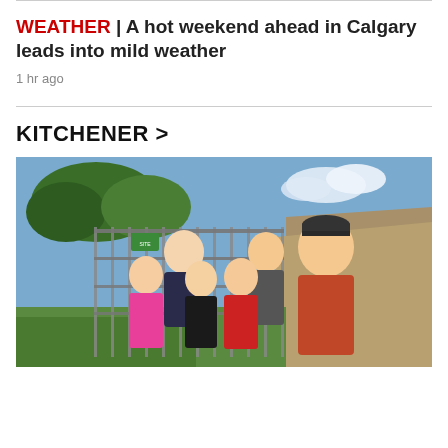WEATHER | A hot weekend ahead in Calgary leads into mild weather
1 hr ago
KITCHENER >
[Figure (photo): A family group of six people — two adults and four children — standing in front of a metal fence with trees and a gravel/rock pile in the background on a sunny day. The children are wearing colourful t-shirts including a pink Creative shirt, Star Wars shirt, and red shirt. The man is wearing an orange-red t-shirt and baseball cap.]